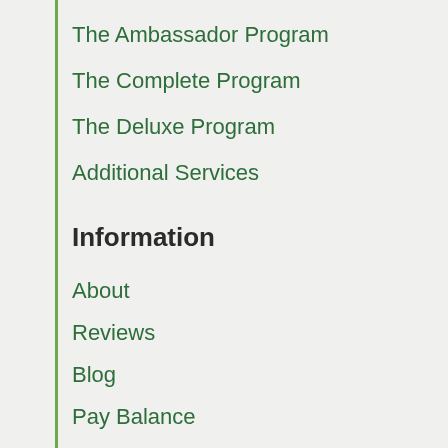The Ambassador Program
The Complete Program
The Deluxe Program
Additional Services
Information
About
Reviews
Blog
Pay Balance
Contact
1-888-791-8873
contact@hometurf.ca